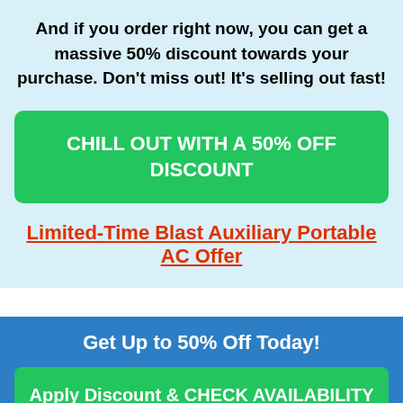And if you order right now, you can get a massive 50% discount towards your purchase. Don't miss out! It's selling out fast!
[Figure (other): Green call-to-action button reading: CHILL OUT WITH A 50% OFF DISCOUNT]
Limited-Time Blast Auxiliary Portable AC Offer
Get Up to 50% Off Today!
[Figure (other): Green call-to-action button reading: Apply Discount & CHECK AVAILABILITY]